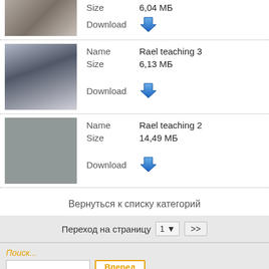[Figure (photo): Photo of a man in white clothing speaking with a microphone, partial view at top]
Size   6,04 МБ
Download
[Figure (photo): Photo of an older bearded man in white cap and clothing speaking into a microphone, with star of David visible in background]
Name   Rael teaching 3
Size   6,13 МБ
Download
[Figure (photo): Photo of a man in white clothing gesturing while speaking, on a stage]
Name   Rael teaching 2
Size   14,49 МБ
Download
Вернуться к списку категорий
Переход на страницу   1 ▾   >>
Поиск...
Вперед
Headlines
Raelianews : news